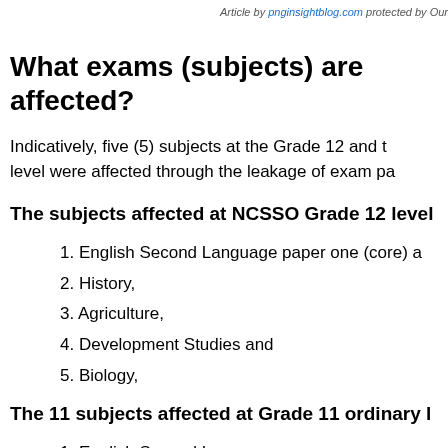Article by pnginsightblog.com protected by Our
What exams (subjects) are affected?
Indicatively, five (5) subjects at the Grade 12 and the level were affected through the leakage of exam pa
The subjects affected at NCSSO Grade 12 level
1. English Second Language paper one (core) a
2. History,
3. Agriculture,
4. Development Studies and
5. Biology,
The 11 subjects affected at Grade 11 ordinary l
1. English Second Language,
2. Afrikaans,